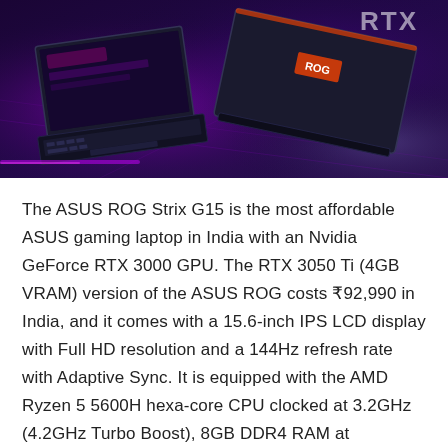[Figure (photo): ASUS ROG Strix G15 gaming laptops on a dark purple neon-lit surface, two laptops shown from above at an angle, with red and purple neon lighting and RTX branding visible]
The ASUS ROG Strix G15 is the most affordable ASUS gaming laptop in India with an Nvidia GeForce RTX 3000 GPU. The RTX 3050 Ti (4GB VRAM) version of the ASUS ROG costs ₹92,990 in India, and it comes with a 15.6-inch IPS LCD display with Full HD resolution and a 144Hz refresh rate with Adaptive Sync. It is equipped with the AMD Ryzen 5 5600H hexa-core CPU clocked at 3.2GHz (4.2GHz Turbo Boost), 8GB DDR4 RAM at 3200MHz, and 512GB PCIe NVMe SSD storage. The